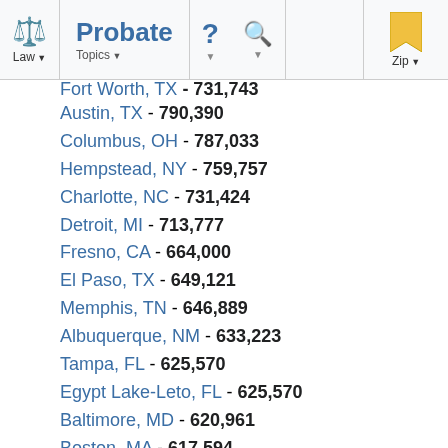Law | Probate | Topics | ? | Search | Zip
Fort Worth, TX - 731,743 (partial, clipped at top)
Austin, TX - 790,390
Columbus, OH - 787,033
Hempstead, NY - 759,757
Charlotte, NC - 731,424
Detroit, MI - 713,777
Fresno, CA - 664,000
El Paso, TX - 649,121
Memphis, TN - 646,889
Albuquerque, NM - 633,223
Tampa, FL - 625,570
Egypt Lake-Leto, FL - 625,570
Baltimore, MD - 620,961
Boston, MA - 617,594
Ontario, CA - 615,598
Washington, DC - 601,723
Nashville, TN - (partial, clipped at bottom)